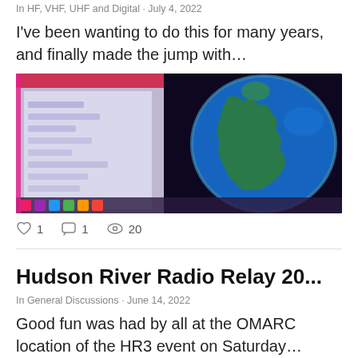In HF, VHF, UHF and Digital · July 4, 2022
I've been wanting to do this for many years, and finally made the jump with…
[Figure (photo): A composite image showing a paper chart on the left and a globe visualization (Earth map) on the right against a dark background.]
1  1  20
Hudson River Radio Relay 20...
In General Discussions · June 14, 2022
Good fun was had by all at the OMARC location of the HR3 event on Saturday…
[Figure (photo): Partial thumbnail of an image related to the Hudson River Radio Relay post, cropped at bottom.]